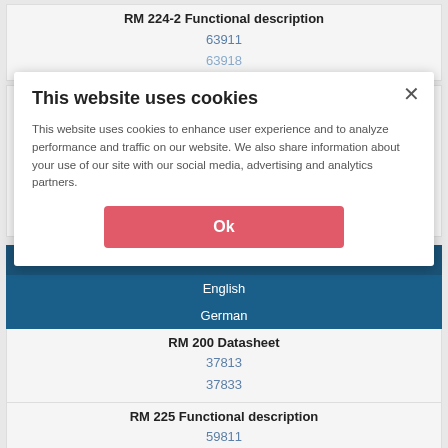RM 224-2 Functional description
63911
63918
RM 225 - Analog Input strain gauge
Strain Gauge transducer
6-wire connection
resolution 18 bit
for applications in process weighing, dosing, force and load measurement...
This website uses cookies
This website uses cookies to enhance user experience and to analyze performance and traffic on our website. We also share information about your use of our site with our social media, advertising and analytics partners.
Ok
Documents
English
German
RM 200 Datasheet
37813
37833
RM 225 Functional description
59811
59818